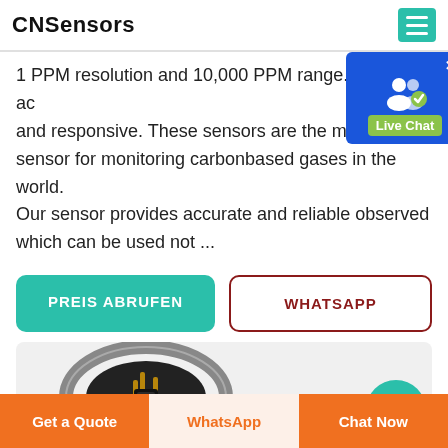CNSensors
1 PPM resolution and 10,000 PPM range. It is very ac and responsive. These sensors are the most sought sensor for monitoring carbonbased gases in the world. Our sensor provides accurate and reliable observed which can be used not ...
[Figure (screenshot): Live Chat overlay widget showing a blue background with a white user/chat icon and a green 'Live Chat' label badge, with an X close button.]
PREIS ABRUFEN
WHATSAPP
[Figure (photo): Product photo of a circular metal sensor component (ring-shaped with internal pins/contacts) on a light gray background, with a teal circular scroll-up button on the right side.]
Get a Quote | WhatsApp | Chat Now